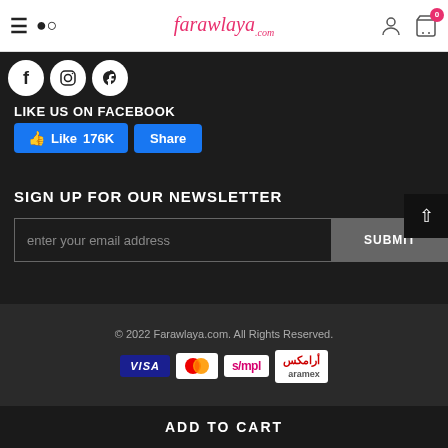farawlaya.com — navigation bar with hamburger, search, logo, account, cart (0)
[Figure (illustration): Social media icons row: Facebook (f), Instagram, Pinterest circles on dark background]
LIKE US ON FACEBOOK
Like 176K   Share
SIGN UP FOR OUR NEWSLETTER
enter your email address
SUBMIT
© 2022 Farawlaya.com. All Rights Reserved.
[Figure (logo): Payment logos: VISA, Mastercard, s/mpl, aramex]
ADD TO CART